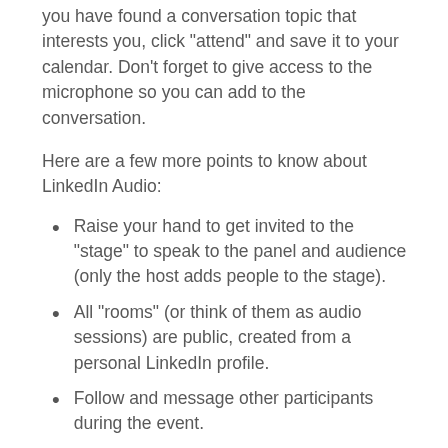you have found a conversation topic that interests you, click “attend” and save it to your calendar. Don’t forget to give access to the microphone so you can add to the conversation.
Here are a few more points to know about LinkedIn Audio:
Raise your hand to get invited to the “stage” to speak to the panel and audience (only the host adds people to the stage).
All “rooms” (or think of them as audio sessions) are public, created from a personal LinkedIn profile.
Follow and message other participants during the event.
No think of them after saving as a d...